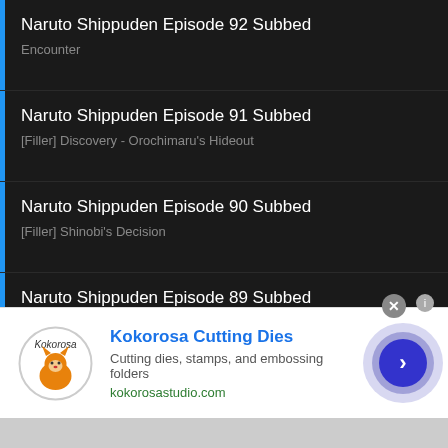Naruto Shippuden Episode 92 Subbed
Encounter
Naruto Shippuden Episode 91 Subbed
[Filler] Discovery - Orochimaru's Hideout
Naruto Shippuden Episode 90 Subbed
[Filler] Shinobi's Decision
Naruto Shippuden Episode 89 Subbed
Compensation for Power
Naruto Shippuden Episode 88 Subbed
Wind Release: Spiraling Shuriken
Naruto Shippuden Episode 86-87 Subbed
Shikamaru's GeniusWhen You Curse Someone You Dig Your Own
[Figure (infographic): Advertisement banner for Kokorosa Cutting Dies with logo, brand name, description text, and navigation arrow button]